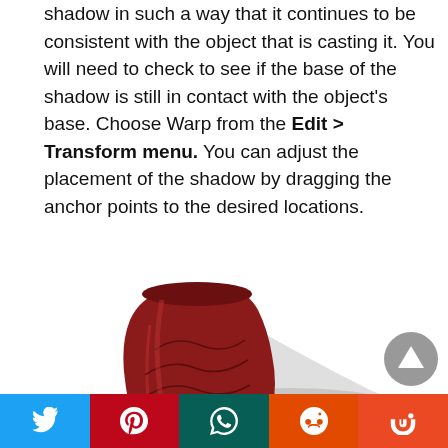shadow in such a way that it continues to be consistent with the object that is casting it. You will need to check to see if the base of the shadow is still in contact with the object's base. Choose Warp from the Edit > Transform menu. You can adjust the placement of the shadow by dragging the anchor points to the desired locations.
[Figure (photo): A red ceramic vase with decorative etched dragonfly design, casting a grey shadow to the right on a white background.]
Social share buttons: Twitter, Pinterest, WhatsApp, Reddit, StumbleUpon